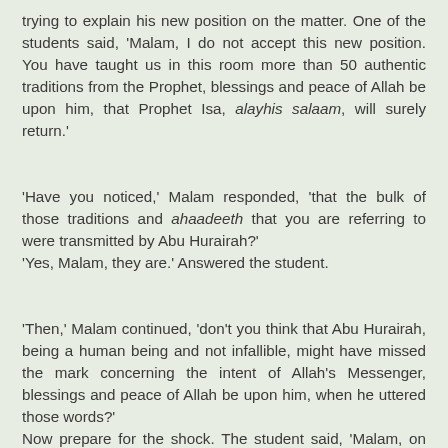trying to explain his new position on the matter. One of the students said, 'Malam, I do not accept this new position. You have taught us in this room more than 50 authentic traditions from the Prophet, blessings and peace of Allah be upon him, that Prophet Isa, alayhis salaam, will surely return.'
'Have you noticed,' Malam responded, 'that the bulk of those traditions and ahaadeeth that you are referring to were transmitted by Abu Hurairah?' 'Yes, Malam, they are.' Answered the student.
'Then,' Malam continued, 'don't you think that Abu Hurairah, being a human being and not infallible, might have missed the mark concerning the intent of Allah's Messenger, blessings and peace of Allah be upon him, when he uttered those words?' Now prepare for the shock. The student said, 'Malam, on this issue, I prefer to follow Abu